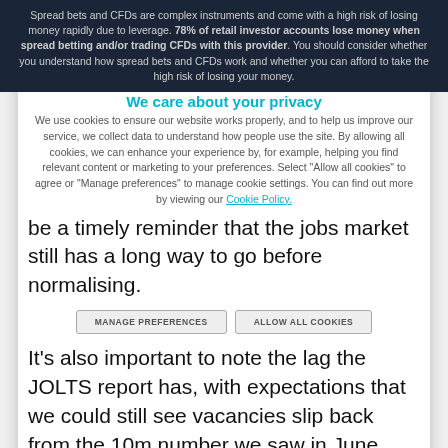Spread bets and CFDs are complex instruments and come with a high risk of losing money rapidly due to leverage. 78% of retail investor accounts lose money when spread betting and/or trading CFDs with this provider. You should consider whether you understand how spread bets and CFDs work and whether you can afford to take the high risk of losing your money.
We care about your privacy
We use cookies to ensure our website works properly, and to help us improve our service, we collect data to understand how people use the site. By allowing all cookies, we can enhance your experience by, for example, helping you find relevant content or marketing to your preferences. Select "Allow all cookies" to agree or "Manage preferences" to manage cookie settings. You can find out more by viewing our Cookie Policy.
be a timely reminder that the jobs market still has a long way to go before normalising.
It's also important to note the lag the JOLTS report has, with expectations that we could still see vacancies slip back from the 10m number we saw in June, due to the huge number of job gains in the July report of over 1m new jobs.
The Fed's Beige Book of economic conditions is also set to give investors a snapshot of the US economy, and where it is in relation to the previous survey. In July it